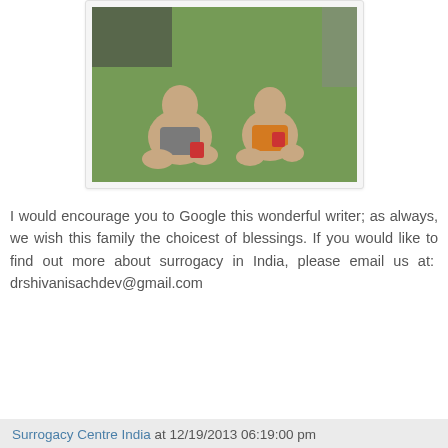[Figure (photo): Two toddlers sitting on green artificial grass/turf outdoors, one wearing grey shorts and one wearing orange shorts, both shirtless, eating or playing with red cups/containers]
I would encourage you to Google this wonderful writer; as always, we wish this family the choicest of blessings. If you would like to find out more about surrogacy in India, please email us at:  drshivanisachdev@gmail.com
Surrogacy Centre India at 12/19/2013 06:19:00 pm